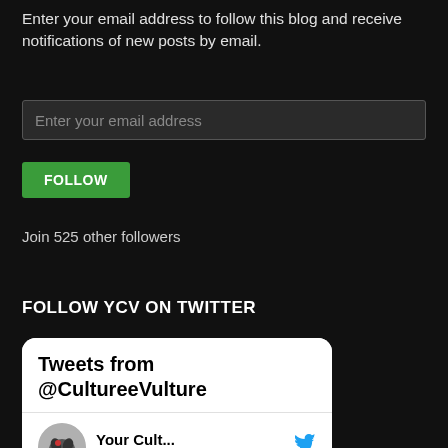Enter your email address to follow this blog and receive notifications of new posts by email.
Enter your email address
FOLLOW
Join 525 other followers
FOLLOW YCV ON TWITTER
[Figure (screenshot): Twitter widget showing 'Tweets from @CultureeVulture' with a tweet by 'Your Cult...' dated Aug 24, 2020: 'New Podcast with @anjlmusic live right now! Link in bio ☮']